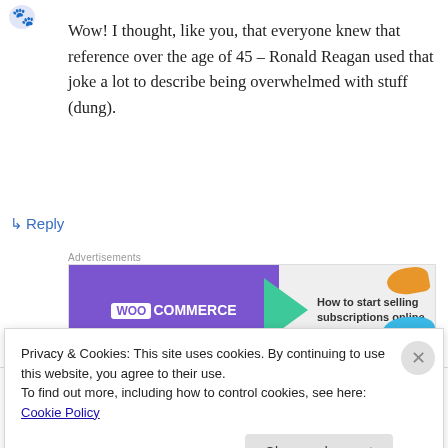[Figure (illustration): Small blue avatar/icon in top left]
Wow! I thought, like you, that everyone knew that reference over the age of 45 – Ronald Reagan used that joke a lot to describe being overwhelmed with stuff (dung).
↳ Reply
Advertisements
[Figure (other): WooCommerce banner ad: 'How to start selling subscriptions online']
REPORT THIS AD
Privacy & Cookies: This site uses cookies. By continuing to use this website, you agree to their use.
To find out more, including how to control cookies, see here: Cookie Policy
Close and accept